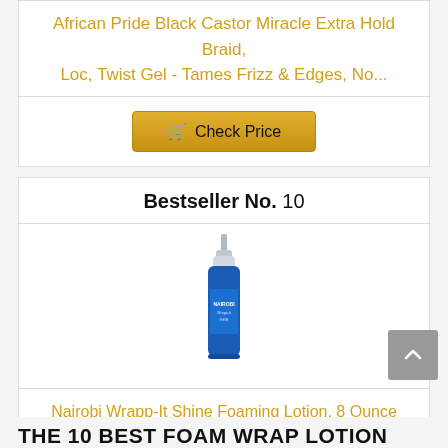African Pride Black Castor Miracle Extra Hold Braid, Loc, Twist Gel - Tames Frizz & Edges, No...
Check Price
Bestseller No. 10
[Figure (photo): Product photo of Nairobi Wrapp-It Shine Foaming Lotion bottle, blue with silver pump top]
Nairobi Wrapp-It Shine Foaming Lotion, 8 Ounce
Check Price
THE 10 BEST FOAM WRAP LOTION